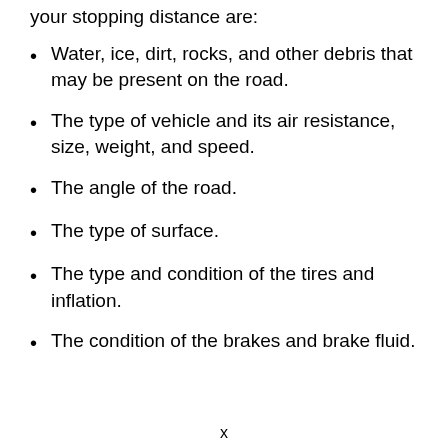your stopping distance are:
Water, ice, dirt, rocks, and other debris that may be present on the road.
The type of vehicle and its air resistance, size, weight, and speed.
The angle of the road.
The type of surface.
The type and condition of the tires and inflation.
The condition of the brakes and brake fluid.
x